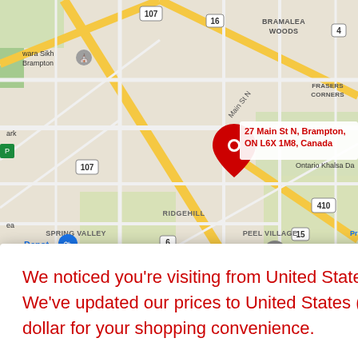[Figure (map): Google Maps screenshot showing the area around 27 Main St N, Brampton, ON L6X 1M8, Canada. Shows road network with highways 107, 16, 4, 410, 407, 15, 6. Neighborhoods visible: Bramalea Woods, Frasers Corners, Ridgehill, Spring Valley, Peel Village, Sheridan, Danville. Red location pin marks the address. Blue shopping icon visible near 'Depot' label.]
We noticed you're visiting from United States (US). We've updated our prices to United States (US) dollar for your shopping convenience.
Copyright © collectablesmarket.com